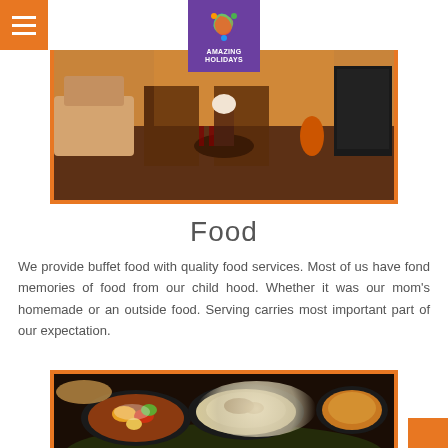Amazing Holidays - Food page header with logo and hamburger menu
[Figure (photo): Hotel/resort interior photo showing luxury lounge chairs, wooden furniture, flower arrangement, wine glasses on table, TV on right, with city/ocean view at sunset through large windows]
Food
We provide buffet food with quality food services. Most of us have fond memories of food from our child hood. Whether it was our mom's homemade or an outside food. Serving carries most important part of our expectation.
[Figure (photo): Indian food buffet spread showing multiple dishes in dark bowls/plates: vegetable curry with colorful vegetables, rice dish with herbs/spices, and a dal/lentil soup, with flatbread visible, served on dark stone/slate surface with green leaves]